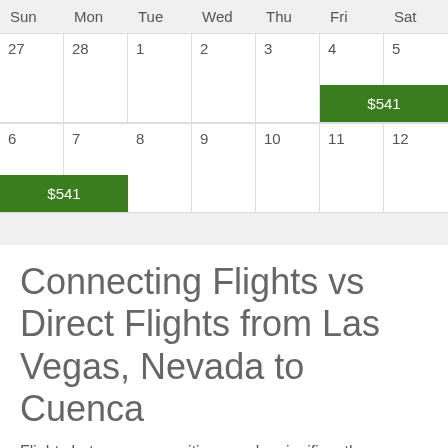| Sun | Mon | Tue | Wed | Thu | Fri | Sat |
| --- | --- | --- | --- | --- | --- | --- |
| 27 | 28 | 1 | 2 | 3 | 4 ($541) | 5 ($541) |
| 6 ($541) | 7 | 8 | 9 | 10 | 11 | 12 |
Connecting Flights vs Direct Flights from Las Vegas, Nevada to Cuenca
Flights between some cities may be significantly